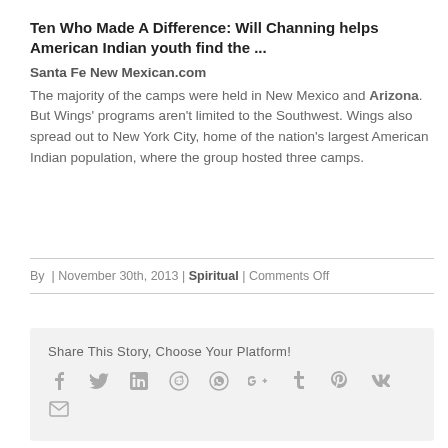Ten Who Made A Difference: Will Channing helps American Indian youth find the ...
Santa Fe New Mexican.com
The majority of the camps were held in New Mexico and Arizona. But Wings' programs aren't limited to the Southwest. Wings also spread out to New York City, home of the nation's largest American Indian population, where the group hosted three camps.
By  | November 30th, 2013 | Spiritual | Comments Off
Share This Story, Choose Your Platform!